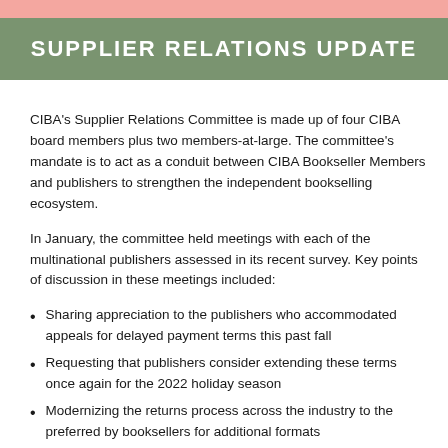SUPPLIER RELATIONS UPDATE
CIBA's Supplier Relations Committee is made up of four CIBA board members plus two members-at-large. The committee's mandate is to act as a conduit between CIBA Bookseller Members and publishers to strengthen the independent bookselling ecosystem.
In January, the committee held meetings with each of the multinational publishers assessed in its recent survey. Key points of discussion in these meetings included:
Sharing appreciation to the publishers who accommodated appeals for delayed payment terms this past fall
Requesting that publishers consider extending these terms once again for the 2022 holiday season
Modernizing the returns process across the industry to the preferred by booksellers for additional formats